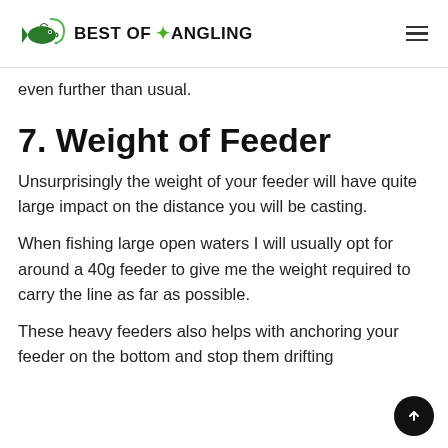BEST OF ANGLING
even further than usual.
7. Weight of Feeder
Unsurprisingly the weight of your feeder will have quite large impact on the distance you will be casting.
When fishing large open waters I will usually opt for around a 40g feeder to give me the weight required to carry the line as far as possible.
These heavy feeders also helps with anchoring your feeder on the bottom and stop them drifting